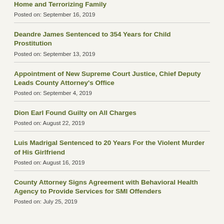Home and Terrorizing Family
Posted on: September 16, 2019
Deandre James Sentenced to 354 Years for Child Prostitution
Posted on: September 13, 2019
Appointment of New Supreme Court Justice, Chief Deputy Leads County Attorney's Office
Posted on: September 4, 2019
Dion Earl Found Guilty on All Charges
Posted on: August 22, 2019
Luis Madrigal Sentenced to 20 Years For the Violent Murder of His Girlfriend
Posted on: August 16, 2019
County Attorney Signs Agreement with Behavioral Health Agency to Provide Services for SMI Offenders
Posted on: July 25, 2019